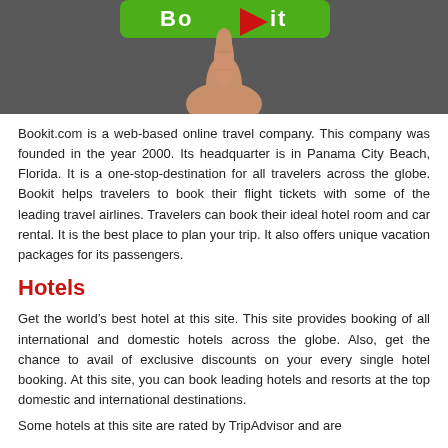[Figure (photo): A finger pointing upward toward a green button with white bold text, partially visible, on a dark gray background.]
Bookit.com is a web-based online travel company. This company was founded in the year 2000. Its headquarter is in Panama City Beach, Florida. It is a one-stop-destination for all travelers across the globe. Bookit helps travelers to book their flight tickets with some of the leading travel airlines. Travelers can book their ideal hotel room and car rental. It is the best place to plan your trip. It also offers unique vacation packages for its passengers.
Hotels
Get the world’s best hotel at this site. This site provides booking of all international and domestic hotels across the globe. Also, get the chance to avail of exclusive discounts on your every single hotel booking. At this site, you can book leading hotels and resorts at the top domestic and international destinations.
Some hotels at this site are rated by TripAdvisor and are...